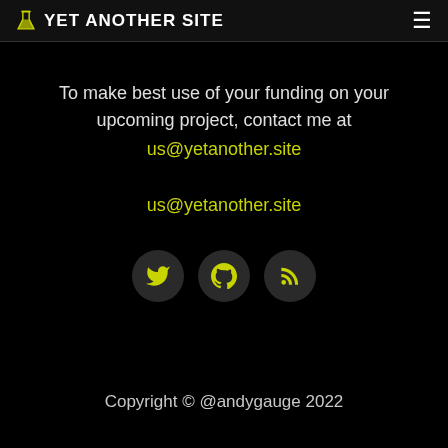YET ANOTHER SITE
To make best use of your funding on your upcoming project, contact me at us@yetanother.site
us@yetanother.site
[Figure (illustration): Three circular social media icon buttons: Twitter bird icon, GitHub octocat icon, RSS feed icon — all with yellow-green icons on dark grey circular backgrounds.]
Copyright © @andygauge 2022